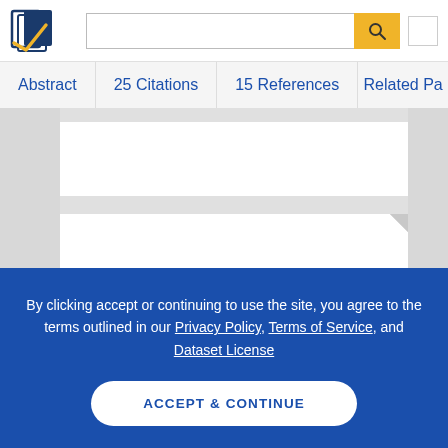Semantic Scholar header with logo, search bar, and profile button
Abstract | 25 Citations | 15 References | Related Pa...
[Figure (screenshot): Two white paper preview cards on grey background]
By clicking accept or continuing to use the site, you agree to the terms outlined in our Privacy Policy, Terms of Service, and Dataset License
ACCEPT & CONTINUE